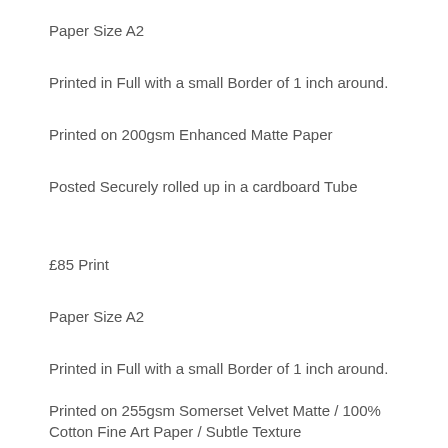Paper Size A2
Printed in Full with a small Border of 1 inch around.
Printed on 200gsm Enhanced Matte Paper
Posted Securely rolled up in a cardboard Tube
£85 Print
Paper Size A2
Printed in Full with a small Border of 1 inch around.
Printed on 255gsm Somerset Velvet Matte / 100% Cotton Fine Art Paper / Subtle Texture